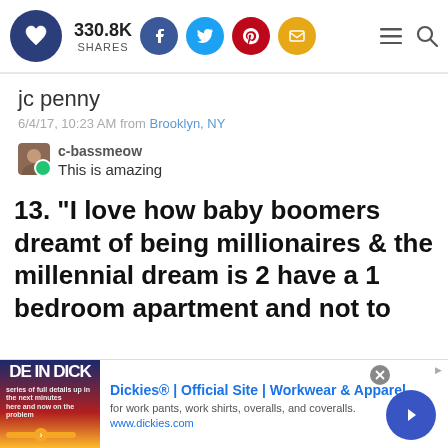330.8K SHARES
jc penny
6/4/17, 10:23 AM from Brooklyn, NY
c-bassmeow
This is amazing
13. "I love how baby boomers dreamt of being millionaires & the millennial dream is 2 have a 1 bedroom apartment and not to
[Figure (screenshot): Advertisement banner for Dickies Official Site - Workwear & Apparel, showing 'DE IN DICK' text over a sunset background image, with URL www.dickies.com]